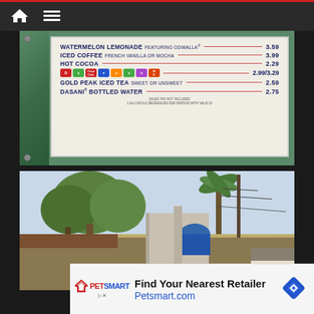Navigation bar with home and menu icons
[Figure (photo): Menu board sign on green metal frame showing drink prices: Watermelon Lemonade featuring Odwalla 3.59, Iced Coffee French Vanilla or Mocha 3.99, Hot Cocoa 2.29, Sodas (various brands) 2.99/3.29, Gold Peak Iced Tea sweet or unsweet 2.59, Dasani Bottled Water 2.75. Fine print: Sales tax not included, 1 alcoholic beverages per person with valid ID.]
[Figure (photo): Outdoor scene with trees, palm tree, utility poles with wires, concrete wall and building rooftops. Partially visible sign reading GUES at bottom right.]
Find Your Nearest Retailer Petsmart.com